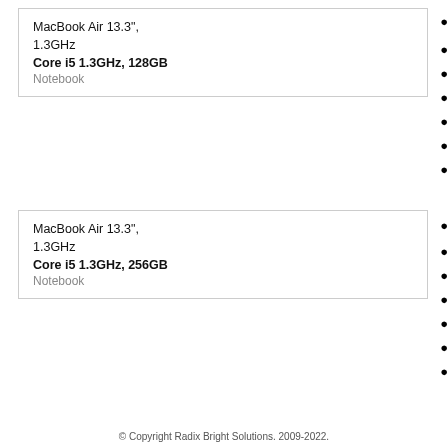MacBook Air 13.3", 1.3GHz Core i5 1.3GHz, 128GB Notebook
•
•
•
•
•
•
•
MacBook Air 13.3", 1.3GHz Core i5 1.3GHz, 256GB Notebook
•
•
•
•
•
•
•
© Copyright Radix Bright Solutions. 2009-2022.